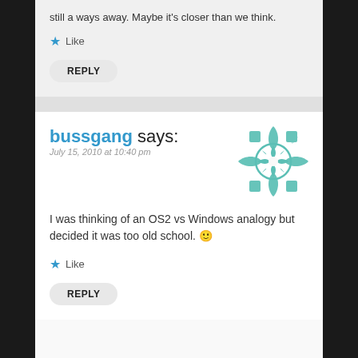still a ways away. Maybe it's closer than we think.
Like
REPLY
bussgang says:
July 15, 2010 at 10:40 pm
[Figure (illustration): Decorative teal geometric snowflake/star pattern avatar icon]
I was thinking of an OS2 vs Windows analogy but decided it was too old school. 🙂
Like
REPLY